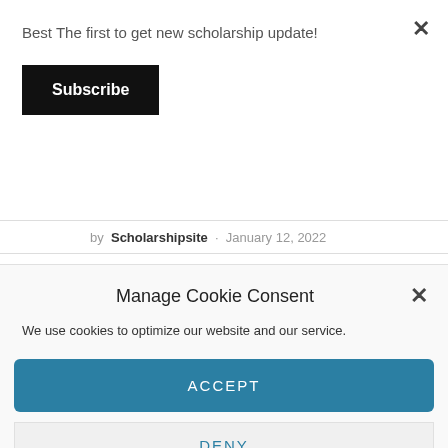Best The first to get new scholarship update!
Subscribe
by Scholarshipsite · January 12, 2022
Manage Cookie Consent
We use cookies to optimize our website and our service.
ACCEPT
DENY
PREFERENCES
Privacy Policy